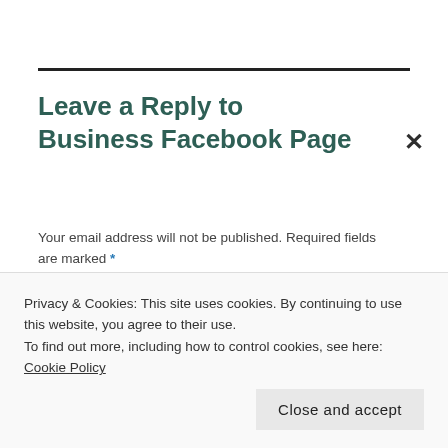Leave a Reply to Business Facebook Page
Your email address will not be published. Required fields are marked *
COMMENT *
Privacy & Cookies: This site uses cookies. By continuing to use this website, you agree to their use.
To find out more, including how to control cookies, see here: Cookie Policy
Close and accept